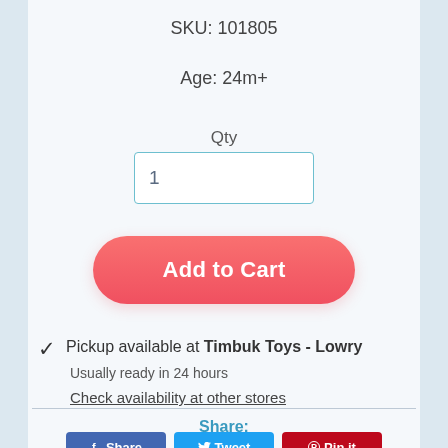SKU: 101805
Age: 24m+
Qty
1
Add to Cart
Pickup available at Timbuk Toys - Lowry
Usually ready in 24 hours
Check availability at other stores
Share:
Share
Tweet
Pin it